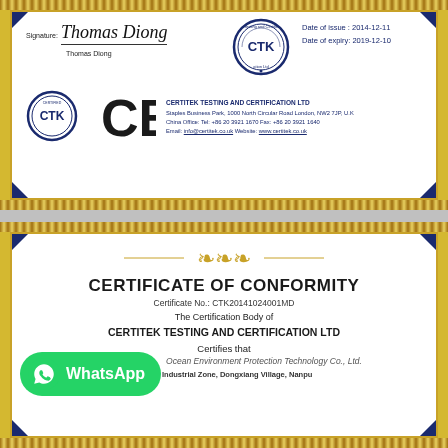[Figure (photo): Top portion of CE certificate showing signature of Thomas Diong, CTK certification logo, date of issue 2014-12-11, date of expiry 2019-12-10, CTK circle logo, CE mark, and Certitek Testing and Certification Ltd address details]
[Figure (photo): Bottom portion showing Certificate of Conformity from Certitek Testing and Certification Ltd, Certificate No. CTK20141024001MD, with WhatsApp button overlay, certifying Ocean Environment Protection Technology Co., Ltd.]
Signature: Thomas Diong
Thomas Diong
Date of issue : 2014-12-11
Date of expiry: 2019-12-10
CERTITEK TESTING AND CERTIFICATION LTD
Staples Business Park, 1000 North Circular Road London, NW2 7JP, U.K
China Office: Tel: +86 20 3921 1670   Fax: +86 20 3921 1640
Email: info@certitek.co.uk   Website: www.certitek.co.uk
CERTIFICATE OF CONFORMITY
Certificate No.: CTK20141024001MD
The Certification Body of
CERTITEK TESTING AND CERTIFICATION LTD
Certifies that
Ocean Environment Protection Technology Co., Ltd.
Address:    No.9A, Building A8, Jianfa Industrial Zone, Dongxiang Village, Nanpu